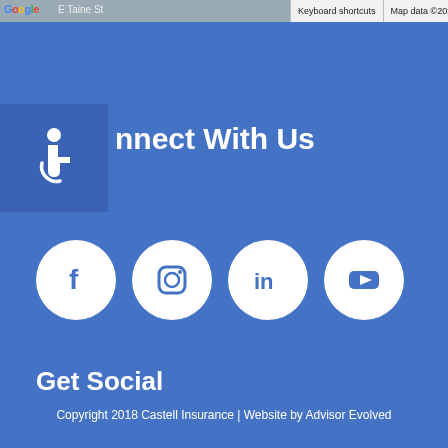[Figure (screenshot): Google Maps bar with keyboard shortcuts, map data copyright 2022, and Terms of Use labels. Partial Google logo and map image visible on the left.]
Connect With Us
[Figure (infographic): Four white social media icon circles on blue background: Facebook (f), Instagram (camera), LinkedIn (in), YouTube (play button)]
Get Social
Copyright 2018 Castell Insurance | Website by Advisor Evolved